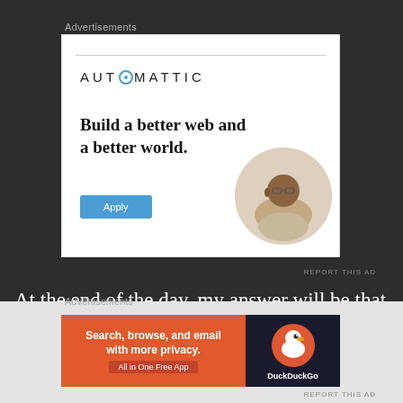Advertisements
[Figure (advertisement): Automattic job advertisement with tagline 'Build a better web and a better world.' and an Apply button, with a circular photo of a thinking man]
REPORT THIS AD
At the end of the day, my answer will be that you need both but not always. The biggest problem
Advertisements
[Figure (advertisement): DuckDuckGo advertisement: 'Search, browse, and email with more privacy. All in One Free App' with DuckDuckGo logo on dark background]